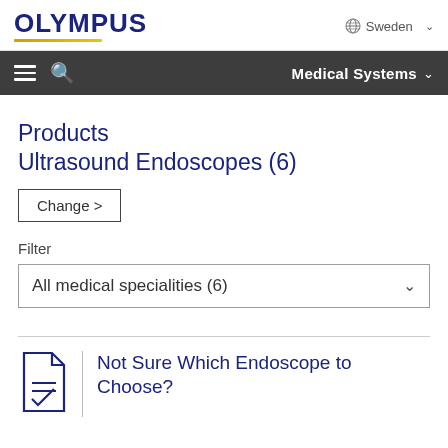OLYMPUS — Sweden
Medical Systems
Products
Ultrasound Endoscopes (6)
Change >
Filter
All medical specialities (6)
Not Sure Which Endoscope to Choose?